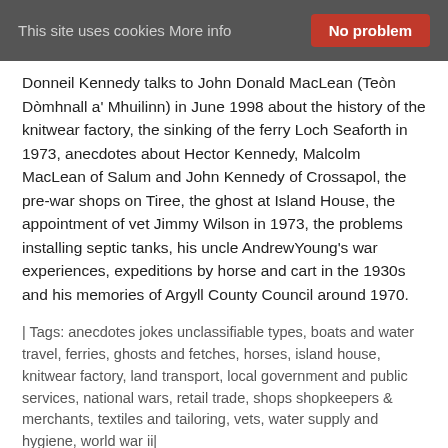This site uses cookies More info  No problem
Donneil Kennedy talks to John Donald MacLean (Teòn Dòmhnall a' Mhuilinn) in June 1998 about the history of the knitwear factory, the sinking of the ferry Loch Seaforth in 1973, anecdotes about Hector Kennedy, Malcolm MacLean of Salum and John Kennedy of Crossapol, the pre-war shops on Tiree, the ghost at Island House, the appointment of vet Jimmy Wilson in 1973, the problems installing septic tanks, his uncle AndrewYoung's war experiences, expeditions by horse and cart in the 1930s and his memories of Argyll County Council around 1970.
| Tags: anecdotes jokes unclassifiable types, boats and water travel, ferries, ghosts and fetches, horses, island house, knitwear factory, land transport, local government and public services, national wars, retail trade, shops shopkeepers & merchants, textiles and tailoring, vets, water supply and hygiene, world war ii|
| Dates: 1930s, 1940s, 1950s, 1960s, 1970s |  | Object Types: audio